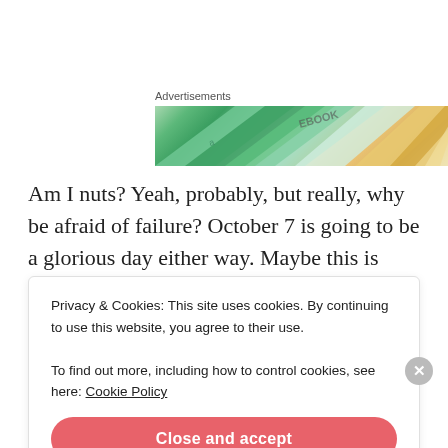Advertisements
[Figure (photo): Advertisement banner with colorful overlapping book/card shapes including green, teal, and gold/yellow tones with text 'EBOOK' visible]
Am I nuts? Yeah, probably, but really, why be afraid of failure? October 7 is going to be a glorious day either way. Maybe this is corny, but all I have to do is believe.
Advertisements
Privacy & Cookies: This site uses cookies. By continuing to use this website, you agree to their use.
To find out more, including how to control cookies, see here: Cookie Policy
Close and accept